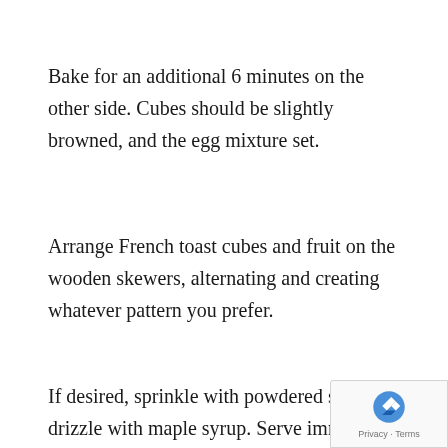Bake for an additional 6 minutes on the other side. Cubes should be slightly browned, and the egg mixture set.
Arrange French toast cubes and fruit on the wooden skewers, alternating and creating whatever pattern you prefer.
If desired, sprinkle with powdered sugar or drizzle with maple syrup. Serve immediately.